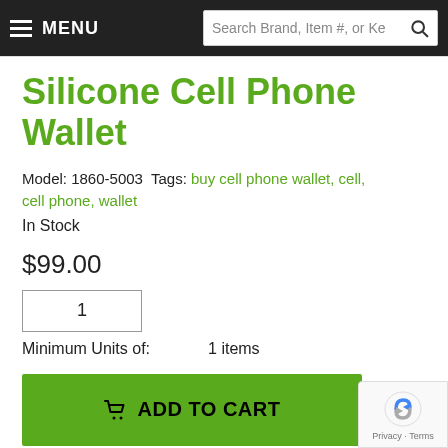MENU  Search Brand, Item #, or Ke
Silicone Cell Phone Wallet
Model: 1860-5003 Tags: buy cell phone wallet, cell, cell phone, wallet
In Stock
$99.00
1
Minimum Units of:          1 items
ADD TO CART